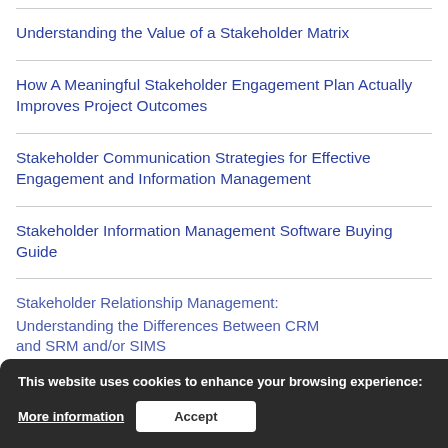Understanding the Value of a Stakeholder Matrix
How A Meaningful Stakeholder Engagement Plan Actually Improves Project Outcomes
Stakeholder Communication Strategies for Effective Engagement and Information Management
Stakeholder Information Management Software Buying Guide
Stakeholder Relationship Management: Understanding the Differences Between CRM and SRM and/or SIMS
This website uses cookies to enhance your browsing experience: More information  Accept